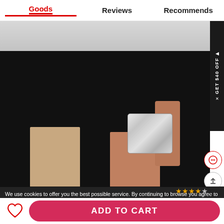Goods | Reviews | Recommends
[Figure (photo): Model wearing black shorts and holding a silver glitter clutch bag, photo cropped at waist level on light grey background]
GET $40 OFF
We use cookies to offer you the best possible service. By continuing to browse you agree to our use of cookies during your browsing experience. Learn more about our cookies policy here
I Accept
★★★★☆ (17)
ADD TO CART